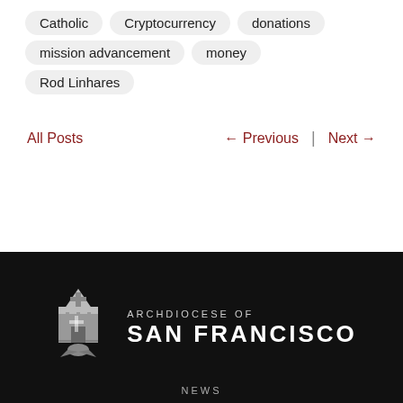Catholic
Cryptocurrency
donations
mission advancement
money
Rod Linhares
All Posts   ← Previous  |  Next →
[Figure (logo): Archdiocese of San Francisco logo — shield/crest icon with cross and bishop's mitre in grayscale, next to text 'ARCHDIOCESE OF SAN FRANCISCO']
NEWS